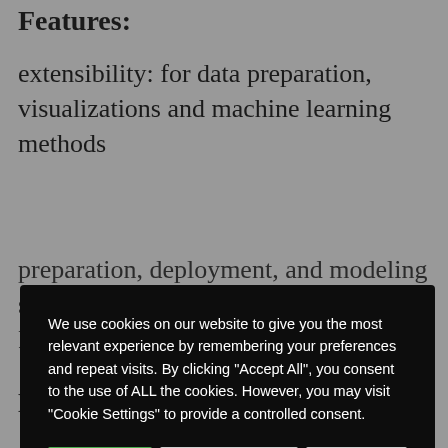Features:
extensibility: for data preparation, visualizations and machine learning methods
[Figure (screenshot): Cookie consent modal dialog with black background. Contains text about cookie usage policy and three buttons: Accept All (green), Cookie Settings (gray), Reject All (gray).]
preparation, deployment, and modeling streaming fast predictions: Infosys Nia Prediction Server
Deeplearning4j